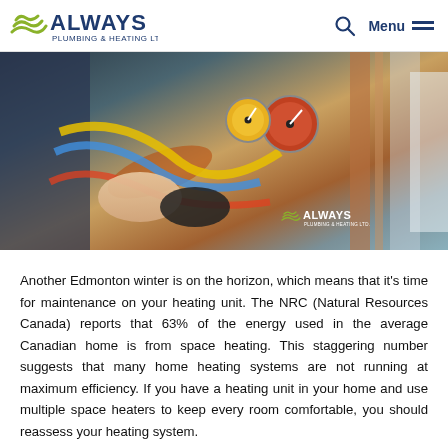Always Plumbing & Heating Ltd. — Menu
[Figure (photo): A technician's hands working on an HVAC/heating unit with gauges, hoses, and copper tubing visible. Always Plumbing & Heating Ltd. watermark logo in lower right corner.]
Another Edmonton winter is on the horizon, which means that it's time for maintenance on your heating unit. The NRC (Natural Resources Canada) reports that 63% of the energy used in the average Canadian home is from space heating. This staggering number suggests that many home heating systems are not running at maximum efficiency. If you have a heating unit in your home and use multiple space heaters to keep every room comfortable, you should reassess your heating system.